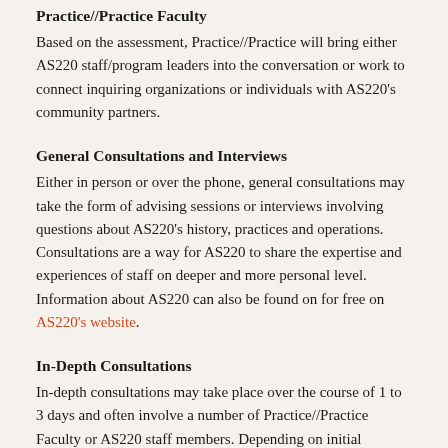Practice//Practice Faculty
Based on the assessment, Practice//Practice will bring either AS220 staff/program leaders into the conversation or work to connect inquiring organizations or individuals with AS220's community partners.
General Consultations and Interviews
Either in person or over the phone, general consultations may take the form of advising sessions or interviews involving questions about AS220's history, practices and operations. Consultations are a way for AS220 to share the expertise and experiences of staff on deeper and more personal level. Information about AS220 can also be found on for free on AS220's website.
In-Depth Consultations
In-depth consultations may take place over the course of 1 to 3 days and often involve a number of Practice//Practice Faculty or AS220 staff members. Depending on initial